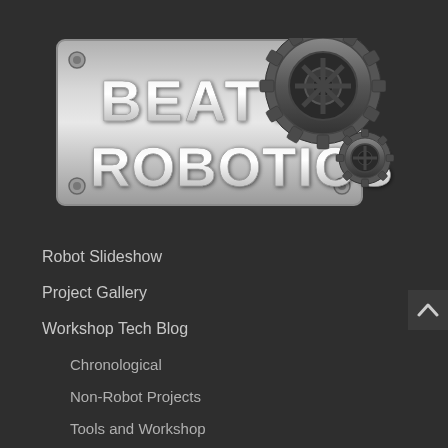[Figure (logo): Beatty Robotics logo on a metallic brushed steel plate with gear/cog imagery. Text reads BEATTY ROBOTICS in large bold 3D lettering with a large gear wheel on the right side and a smaller gear below it.]
Robot Slideshow
Project Gallery
Workshop Tech Blog
Chronological
Non-Robot Projects
Tools and Workshop
News & Media